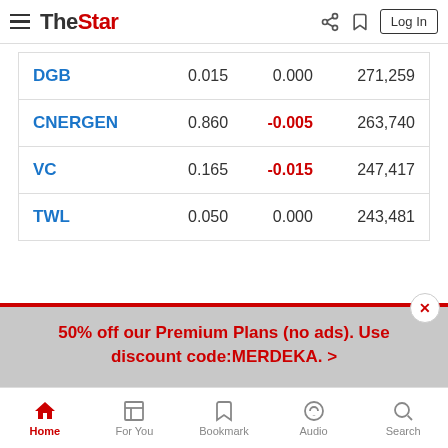The Star - navigation bar with hamburger menu, logo, share, bookmark, Log In
| Name | Price | Change | Volume |
| --- | --- | --- | --- |
| DGB | 0.015 | 0.000 | 271,259 |
| CNERGEN | 0.860 | -0.005 | 263,740 |
| VC | 0.165 | -0.015 | 247,417 |
| TWL | 0.050 | 0.000 | 243,481 |
50% off our Premium Plans (no ads). Use discount code:MERDEKA. >
Home | For You | Bookmark | Audio | Search